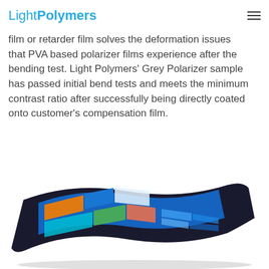Light Polymers
film or retarder film solves the deformation issues that PVA based polarizer films experience after the bending test. Light Polymers’ Grey Polarizer sample has passed initial bend tests and meets the minimum contrast ratio after successfully being directly coated onto customer’s compensation film.
[Figure (photo): A flexible display device (tablet-like) shown bent/curved, with a blue touchscreen interface visible, displayed on a white background.]